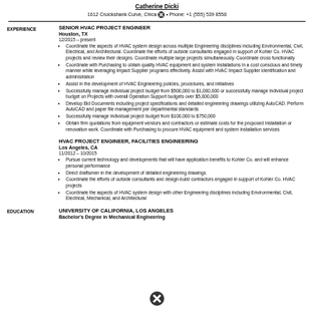Catherine Dicki
1612 Cruickshank Curve, Chica [icon] • Phone: +1 (555) 539 8558
EXPERIENCE
SENIOR HVAC PROJECT ENGINEER
Houston, TX
12/2015 – present
Coordinate the aspects of HVAC system design across multiple Engineering disciplines including Environmental, Civil, Electrical, and Architectural. Coordinate the efforts of outside consultants engaged in support of Kohler Co. HVAC projects and review their designs. Coordinate multiple large projects simultaneously. Coordinate cross functionally
Coordinate with Purchasing to obtain quality HVAC equipment and system installations in a cost conscious and timely manner while leveraging Impact Supplier programs effectively. Assist with HVAC Impact Supplier identification and administration
Assist in the development of HVAC Engineering policies, procedures, and initiatives
Successfully manage individual project budget from $500,000 to $1,000,000 or successfully manage individual project budget on Projects with overall Operation Support budgets over $5,000,000
Develop Bid Documents including project specifications and detailed engineering drawings utilizing AutoCAD. Perform AutoCAD and paper file management per departmental standards
Successfully manage individual project budget from $100,000 to $750,000
Obtain firm quotations from equipment vendors and contractors or estimate costs for the proposed installation or renovation work. Coordinate with Purchasing to procure HVAC equipment and system installation services
HVAC PROJECT ENGINEER, FACILITIES ENGINEERING
Los Angeles, CA
11/2012 – 10/2015
Pursue current technology and developments that will have application benefits to Kohler Co. and will enhance personal performance
Direct draftsmen in the development of detailed engineering drawings
Coordinate the efforts of outside consultants and design-build contractors engaged in support of Kohler Co. HVAC projects
Coordinate the aspects of HVAC system design with other Engineering disciplines including Environmental, Civil, Electrical, Mechanical, and Architectural
EDUCATION
UNIVERSITY OF CALIFORNIA, LOS ANGELES
Bachelor's Degree in Mechanical Engineering